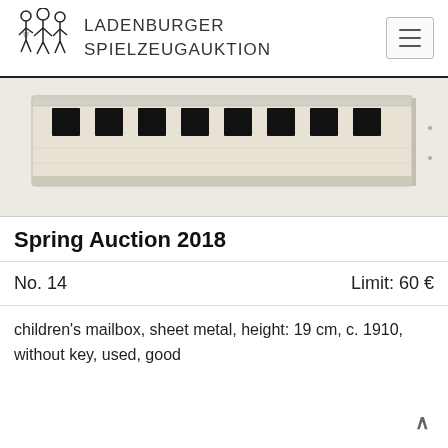LADENBURGER SPIELZEUGAUKTION
[Figure (photo): Top-down view of a cream/white rectangular children's mailbox made of sheet metal, showing a row of 9 black square window openings along the top surface.]
Spring Auction 2018
No. 14   Limit: 60 €
children's mailbox, sheet metal, height: 19 cm, c. 1910, without key, used, good